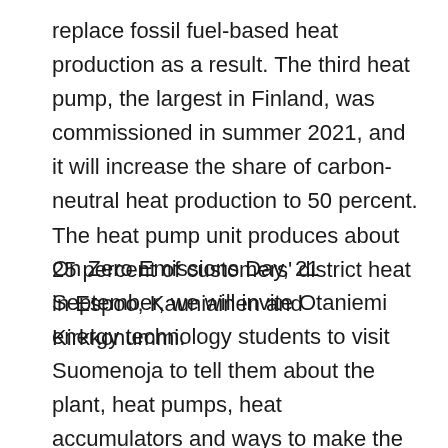replace fossil fuel-based heat production as a result. The third heat pump, the largest in Finland, was commissioned in summer 2021, and it will increase the share of carbon-neutral heat production to 50 percent. The heat pump unit produces about 25 percent of customers' district heat in Espoo, Kauniainen and Kirkkonummi.
On Zero Emissions Day, 21 September, we will invite Otaniemi energy technology students to visit Suomenoja to tell them about the plant, heat pumps, heat accumulators and ways to make the production of district heat completely carbon neutral during the 2020s